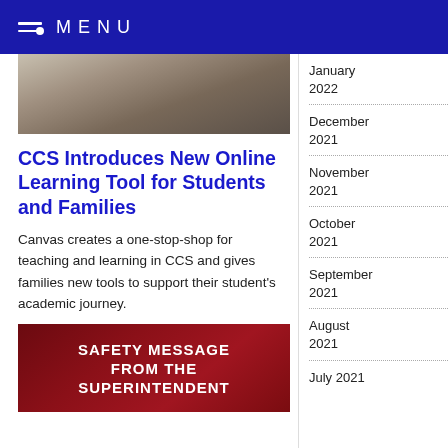MENU
[Figure (photo): Partial view of a person at a desk with a laptop or tablet]
CCS Introduces New Online Learning Tool for Students and Families
Canvas creates a one-stop-shop for teaching and learning in CCS and gives families new tools to support their student's academic journey.
[Figure (photo): SAFETY MESSAGE FROM THE SUPERINTENDENT banner with dark red background]
January 2022
December 2021
November 2021
October 2021
September 2021
August 2021
July 2021